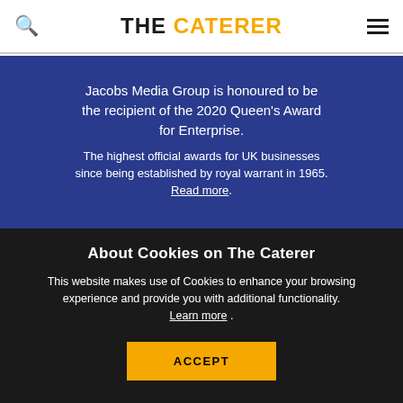THE CATERER
Jacobs Media Group is honoured to be the recipient of the 2020 Queen's Award for Enterprise.

The highest official awards for UK businesses since being established by royal warrant in 1965. Read more.
About Cookies on The Caterer
This website makes use of Cookies to enhance your browsing experience and provide you with additional functionality. Learn more .
ACCEPT